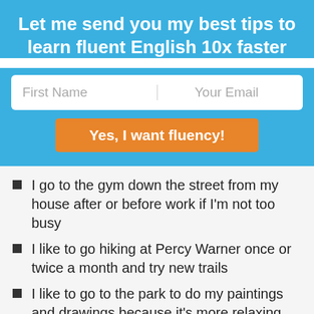Let me send you my best tips to learn fluent English 10x faster
[Figure (screenshot): Email signup form with First Name and Your Email fields and orange submit button]
I go to the gym down the street from my house after or before work if I'm not too busy
I like to go hiking at Percy Warner once or twice a month and try new trails
I like to go to the park to do my paintings and drawings because it's more relaxing
I usually go to the beach in Florida about once a month to get away from